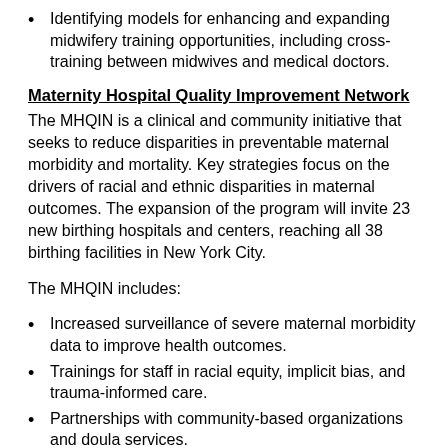Identifying models for enhancing and expanding midwifery training opportunities, including cross-training between midwives and medical doctors.
Maternity Hospital Quality Improvement Network
The MHQIN is a clinical and community initiative that seeks to reduce disparities in preventable maternal morbidity and mortality. Key strategies focus on the drivers of racial and ethnic disparities in maternal outcomes. The expansion of the program will invite 23 new birthing hospitals and centers, reaching all 38 birthing facilities in New York City.
The MHQIN includes:
Increased surveillance of severe maternal morbidity data to improve health outcomes.
Trainings for staff in racial equity, implicit bias, and trauma-informed care.
Partnerships with community-based organizations and doula services.